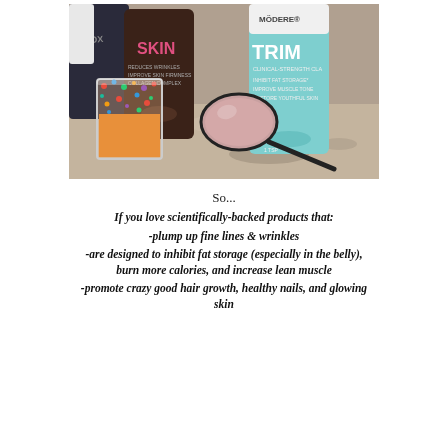[Figure (photo): Photo of Modere TRIM and SKIN collagen products on a granite countertop, with a colorful sprinkle cup containing an orange liquid and a black spoon holding a pink-beige substance.]
So...
If you love scientifically-backed products that:
-plump up fine lines & wrinkles
-are designed to inhibit fat storage (especially in the belly), burn more calories, and increase lean muscle
-promote crazy good hair growth, healthy nails, and glowing skin